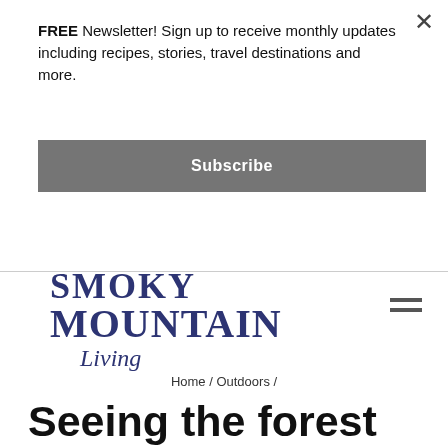FREE Newsletter! Sign up to receive monthly updates including recipes, stories, travel destinations and more.
Subscribe
[Figure (logo): Smoky Mountain Living magazine logo with serif bold text in dark navy blue]
Home / Outdoors /
Seeing the forest for the trees
Photos by Margaret Hester